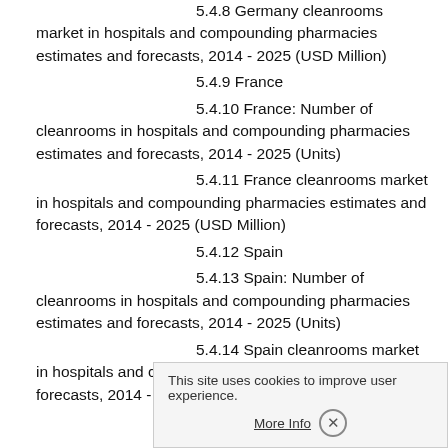5.4.8 Germany cleanrooms market in hospitals and compounding pharmacies estimates and forecasts, 2014 - 2025 (USD Million)
5.4.9 France
5.4.10 France: Number of cleanrooms in hospitals and compounding pharmacies estimates and forecasts, 2014 - 2025 (Units)
5.4.11 France cleanrooms market in hospitals and compounding pharmacies estimates and forecasts, 2014 - 2025 (USD Million)
5.4.12 Spain
5.4.13 Spain: Number of cleanrooms in hospitals and compounding pharmacies estimates and forecasts, 2014 - 2025 (Units)
5.4.14 Spain cleanrooms market in hospitals and compounding pharmacies estimates and forecasts, 2014 - 2025 (USD Million)
5.4.15 Italy
5.4.16 Italy N…